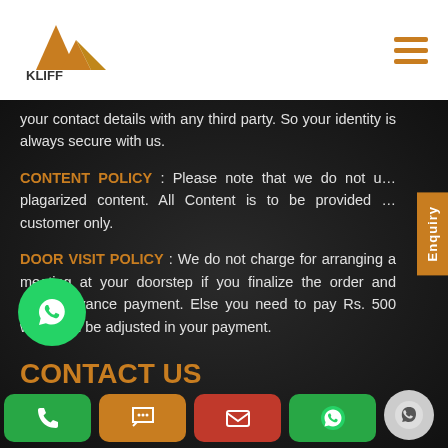KLIFF TECHNOLOGIES - Creativity That Captivates
your contact details with any third party. So your identity is always secure with us.
CONTENT POLICY : Please note that we do not use plagarized content. All Content is to be provided by customer only.
DOOR VISIT POLICY : We do not charge for arranging a meeting at your doorstep if you finalize the order and make advance payment. Else you need to pay Rs. 500 which will be adjusted in your payment.
CONTACT US
[Figure (logo): WhatsApp green circle icon]
[Figure (infographic): Bottom navigation bar with phone, chat, email, and WhatsApp icons in green, orange, red, green buttons]